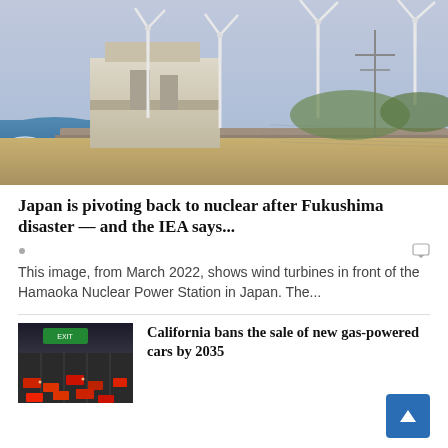[Figure (photo): Aerial/ground view of the Hamaoka Nuclear Power Station in Japan with wind turbines in front, coastline with waves, seawall, and sandy embankment. Photo taken March 2022.]
Japan is pivoting back to nuclear after Fukushima disaster — and the IEA says...
This image, from March 2022, shows wind turbines in front of the Hamaoka Nuclear Power Station in Japan. The...
[Figure (photo): Aerial photo of heavy freeway traffic, cars in multiple lanes including red cars, with a green highway sign visible overhead.]
California bans the sale of new gas-powered cars by 2035